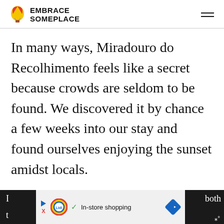[Figure (logo): Embrace Someplace logo with hot air balloon icon and bold text]
In many ways, Miradouro do Recolhimento feels like a secret because crowds are seldom to be found. We discovered it by chance a few weeks into our stay and found ourselves enjoying the sunset amidst locals.
[Figure (screenshot): Bottom partial text and advertisement banner for Lidl in-store shopping with play, X, Lidl logo, checkmark, and arrow icon, overlaid on dark bar]